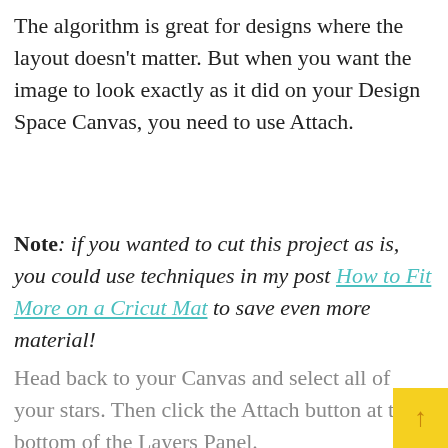The algorithm is great for designs where the layout doesn’t matter. But when you want the image to look exactly as it did on your Design Space Canvas, you need to use Attach.
Note: if you wanted to cut this project as is, you could use techniques in my post How to Fit More on a Cricut Mat to save even more material!
Head back to your Canvas and select all of your stars. Then click the Attach button at the bottom of the Layers Panel.